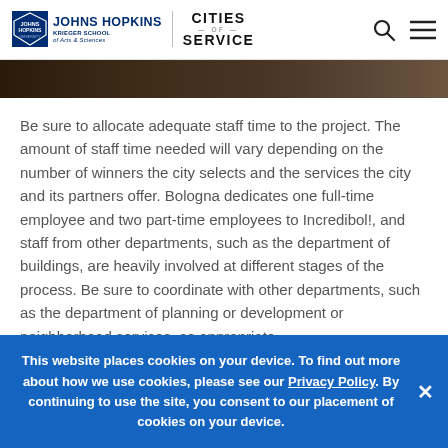Johns Hopkins Krieger School of Arts & Sciences | Cities of Service
[Figure (photo): Dark image strip showing partial view of indoor scene]
Be sure to allocate adequate staff time to the project. The amount of staff time needed will vary depending on the number of winners the city selects and the services the city and its partners offer. Bologna dedicates one full-time employee and two part-time employees to Incredibol!, and staff from other departments, such as the department of buildings, are heavily involved at different stages of the process. Be sure to coordinate with other departments, such as the department of planning or development or neighborhood services, as appropriate.
This website places cookies on your device. To find out more about how we use cookies, please see our Privacy Policy. By continuing to use the site, you consent to our placement of cookies on your device.